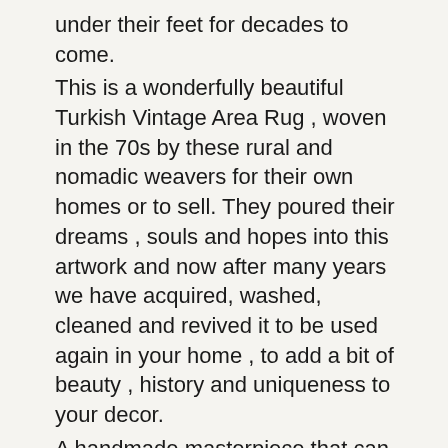under their feet for decades to come. This is a wonderfully beautiful Turkish Vintage Area Rug , woven in the 70s by these rural and nomadic weavers for their own homes or to sell. They poured their dreams , souls and hopes into this artwork and now after many years we have acquired, washed, cleaned and revived it to be used again in your home , to add a bit of beauty , history and uniqueness to your decor. A handmade masterpiece that can last you for generations.
🔶🔶🔶🔶🔶🔶🔶🔶🔶:
This rug like most other handmade rugs is made of wool yarn , knotted on a loom that is made of a mixture of wool and cotton. The wool most of the time is from